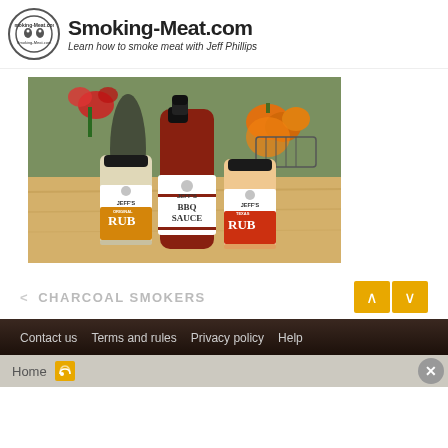Smoking-Meat.com — Learn how to smoke meat with Jeff Phillips
[Figure (photo): Product photo showing Jeff's Original Rub (shaker jar), Jeff's BBQ Sauce (bottle), and Jeff's Original Rub (shaker jar) in orange, arranged on a wooden table with flowers and pumpkins in the background]
< CHARCOAL SMOKERS
Contact us   Terms and rules   Privacy policy   Help
Home